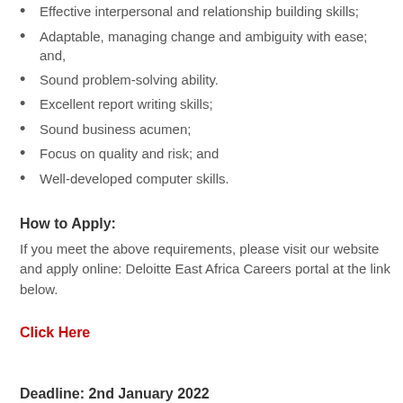Effective interpersonal and relationship building skills;
Adaptable, managing change and ambiguity with ease; and,
Sound problem-solving ability.
Excellent report writing skills;
Sound business acumen;
Focus on quality and risk; and
Well-developed computer skills.
How to Apply:
If you meet the above requirements, please visit our website and apply online: Deloitte East Africa Careers portal at the link below.
Click Here
Deadline: 2nd January 2022